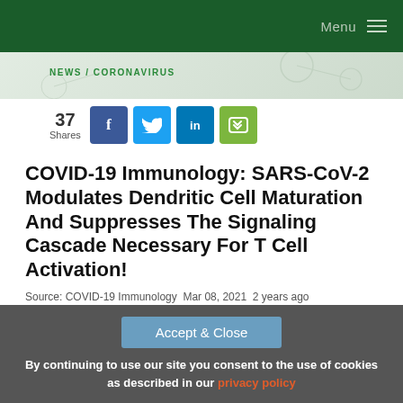Menu
NEWS / CORONAVIRUS
37 Shares
COVID-19 Immunology: SARS-CoV-2 Modulates Dendritic Cell Maturation And Suppresses The Signaling Cascade Necessary For T Cell Activation!
Source: COVID-19 Immunology  Mar 08, 2021  2 years ago
Accept & Close
By continuing to use our site you consent to the use of cookies as described in our privacy policy